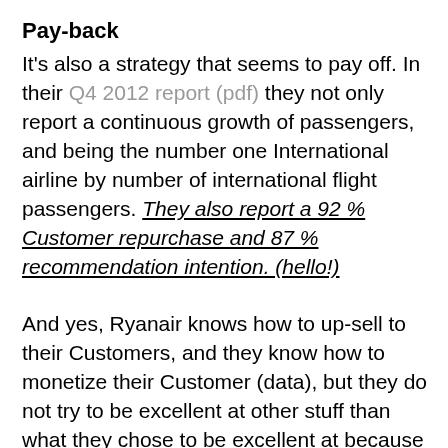Pay-back
It's also a strategy that seems to pay off. In their Q4 2012 report (pdf) they not only report a continuous growth of passengers, and being the number one International airline by number of international flight passengers. They also report a 92 % Customer repurchase and 87 % recommendation intention. (hello!)
And yes, Ryanair knows how to up-sell to their Customers, and they know how to monetize their Customer (data), but they do not try to be excellent at other stuff than what they chose to be excellent at because that matters to their Customers most. And they do care about the